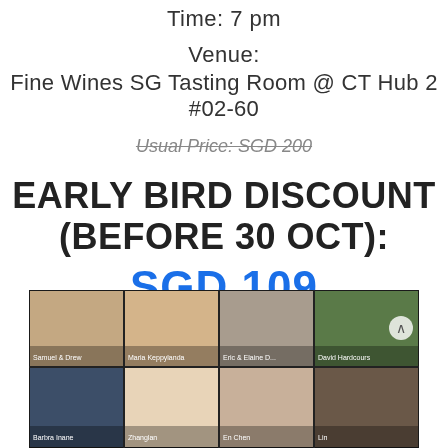Time: 7 pm
Venue:
Fine Wines SG Tasting Room @ CT Hub 2 #02-60
Usual Price: SGD 200
EARLY BIRD DISCOUNT (BEFORE 30 OCT): SGD 109
[Figure (photo): Grid of video call participants in a wine tasting event, showing 8 participants in 2 rows of 4 tiles, with names visible at the bottom of each tile.]